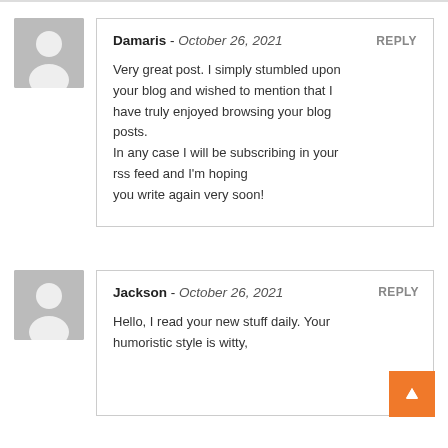Damaris - October 26, 2021  REPLY
Very great post. I simply stumbled upon your blog and wished to mention that I have truly enjoyed browsing your blog posts.
In any case I will be subscribing in your rss feed and I'm hoping you write again very soon!
Jackson - October 26, 2021  REPLY
Hello, I read your new stuff daily. Your humoristic style is witty,